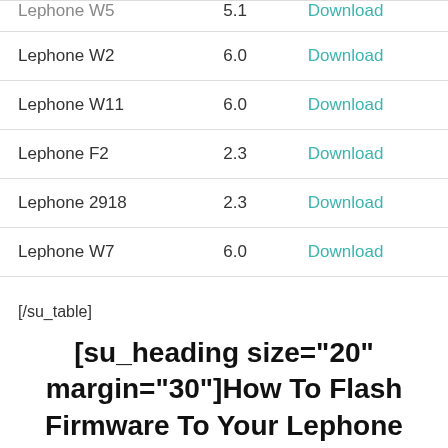| Device | Version | Link |
| --- | --- | --- |
| Lephone W5 | 5.1 | Download |
| Lephone W2 | 6.0 | Download |
| Lephone W11 | 6.0 | Download |
| Lephone F2 | 2.3 | Download |
| Lephone 2918 | 2.3 | Download |
| Lephone W7 | 6.0 | Download |
[/su_table]
[su_heading size="20" margin="30"]How To Flash Firmware To Your Lephone Smartphone[/su_heading]